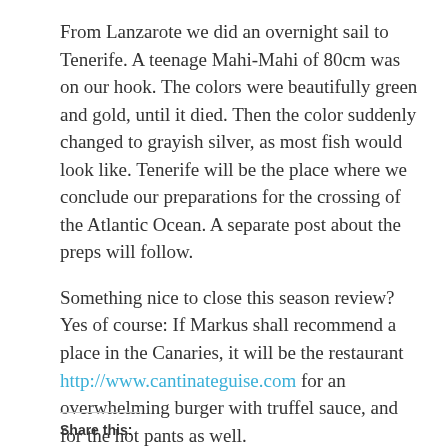From Lanzarote we did an overnight sail to Tenerife. A teenage Mahi-Mahi of 80cm was on our hook. The colors were beautifully green and gold, until it died. Then the color suddenly changed to grayish silver, as most fish would look like. Tenerife will be the place where we conclude our preparations for the crossing of the Atlantic Ocean. A separate post about the preps will follow.
Something nice to close this season review? Yes of course: If Markus shall recommend a place in the Canaries, it will be the restaurant http://www.cantinateguise.com for an overwhelming burger with truffel sauce, and for the hot pants as well.
Share this: